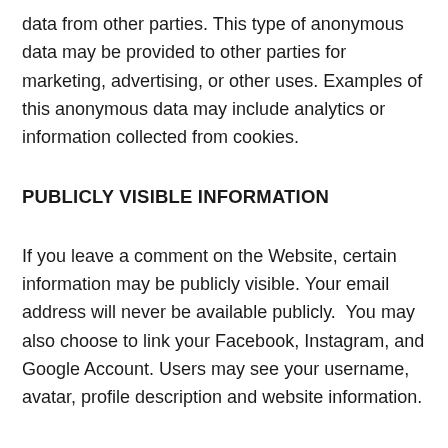data from other parties. This type of anonymous data may be provided to other parties for marketing, advertising, or other uses. Examples of this anonymous data may include analytics or information collected from cookies.
PUBLICLY VISIBLE INFORMATION
If you leave a comment on the Website, certain information may be publicly visible. Your email address will never be available publicly.  You may also choose to link your Facebook, Instagram, and Google Account. Users may see your username, avatar, profile description and website information.